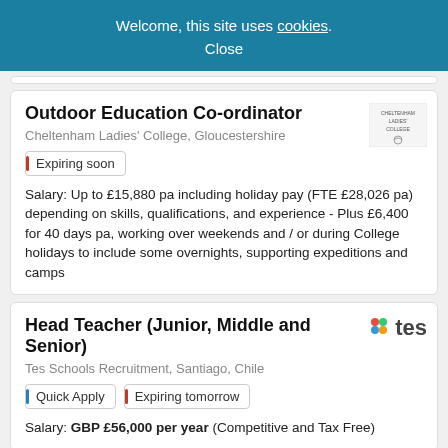Welcome, this site uses cookies.
Close
Outdoor Education Co-ordinator
Cheltenham Ladies' College, Gloucestershire
Expiring soon
Salary: Up to £15,880 pa including holiday pay (FTE £28,026 pa) depending on skills, qualifications, and experience - Plus £6,400 for 40 days pa, working over weekends and / or during College holidays to include some overnights, supporting expeditions and camps
Head Teacher (Junior, Middle and Senior)
Tes Schools Recruitment, Santiago, Chile
Quick Apply
Expiring tomorrow
Salary: GBP £56,000 per year (Competitive and Tax Free)